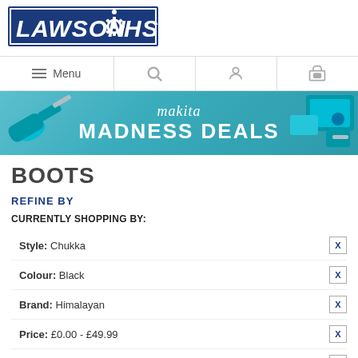[Figure (logo): Lawson-HiS logo in blue box with italic bold white text and gear icon]
[Figure (infographic): Navigation bar with Menu (hamburger), Search, Account, and Cart icons]
[Figure (photo): Makita Madness Deals promotional banner with power tools on teal/blue background]
BOOTS
REFINE BY
CURRENTLY SHOPPING BY:
Style: Chukka
Colour: Black
Brand: Himalayan
Price: £0.00 - £49.99
Type: Safety Footwear